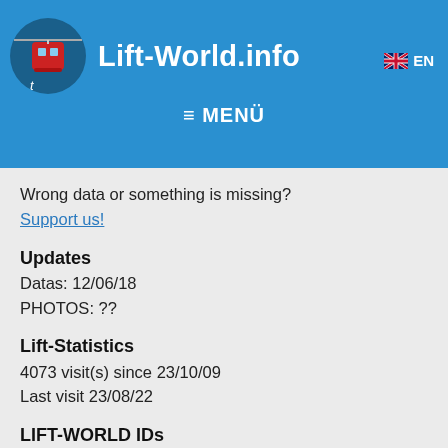Lift-World.info  EN  ≡ MENÜ
Wrong data or something is missing?
Support us!
Updates
Datas: 12/06/18
PHOTOS: ??
Lift-Statistics
4073 visit(s) since 23/10/09
Last visit 23/08/22
LIFT-WORLD IDs
Lift-ID: 14245
Place-ID: 2391
https://www.seilbahntechnik.net/en/lifts/14245/datas.htm